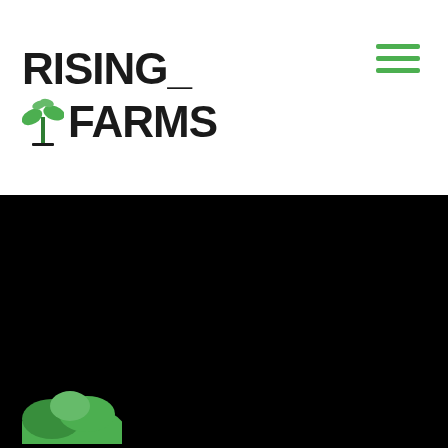[Figure (logo): Rising Farms logo with plant icon, bold black text reading RISING_ on top line and plant icon followed by FARMS on bottom line]
[Figure (illustration): Hamburger menu icon with three green horizontal lines in the upper right of the header]
[Figure (photo): Large black hero section below the header, with a green plant/mountain shape visible at the very bottom left corner]